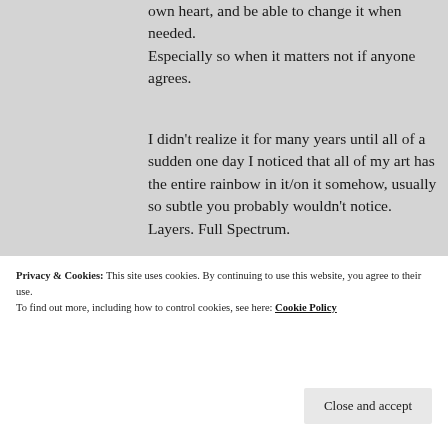own heart, and be able to change it when needed.
Especially so when it matters not if anyone agrees.
I didn't realize it for many years until all of a sudden one day I noticed that all of my art has the entire rainbow in it/on it somehow, usually so subtle you probably wouldn't notice. Layers. Full Spectrum.
Yes… I get what you mean about some light and some dark…
divisiveness & duality…
Privacy & Cookies: This site uses cookies. By continuing to use this website, you agree to their use.
To find out more, including how to control cookies, see here: Cookie Policy
Close and accept